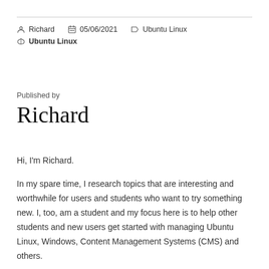Richard | 05/06/2021 | Ubuntu Linux | Ubuntu Linux
Published by
Richard
Hi, I'm Richard.
In my spare time, I research topics that are interesting and worthwhile for users and students who want to try something new. I, too, am a student and my focus here is to help other students and new users get started with managing Ubuntu Linux, Windows, Content Management Systems (CMS) and others.